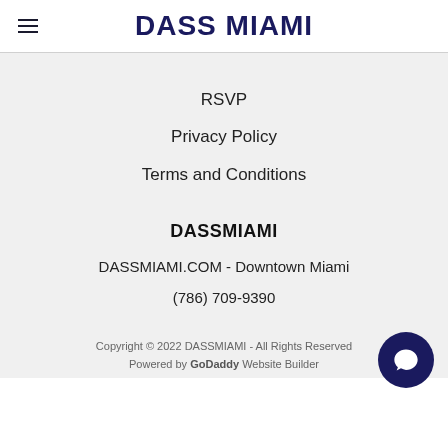DASS MIAMI
RSVP
Privacy Policy
Terms and Conditions
DASSMIAMI
DASSMIAMI.COM - Downtown Miami
(786) 709-9390
Copyright © 2022 DASSMIAMI - All Rights Reserved
Powered by GoDaddy Website Builder